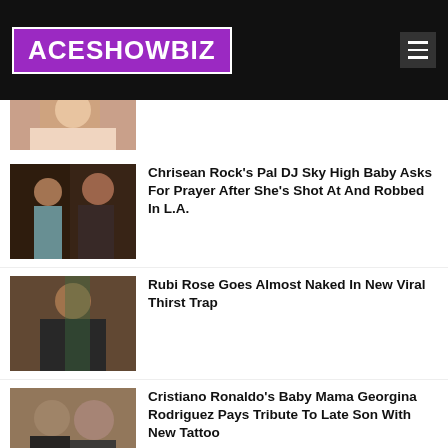ACESHOWBIZ
[Figure (photo): Partial photo of a woman with reddish-brown hair]
[Figure (photo): Two women posing together at what appears to be a party or event]
Chrisean Rock's Pal DJ Sky High Baby Asks For Prayer After She's Shot At And Robbed In L.A.
[Figure (photo): Woman with long dark curly hair posing with hand raised]
Rubi Rose Goes Almost Naked In New Viral Thirst Trap
[Figure (photo): A man and woman taking a selfie together]
Cristiano Ronaldo's Baby Mama Georgina Rodriguez Pays Tribute To Late Son With New Tattoo